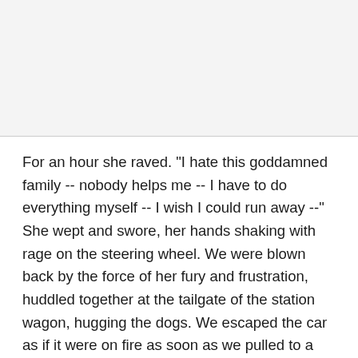For an hour she raved. "I hate this goddamned family -- nobody helps me -- I have to do everything myself -- I wish I could run away --" She wept and swore, her hands shaking with rage on the steering wheel. We were blown back by the force of her fury and frustration, huddled together at the tailgate of the station wagon, hugging the dogs. We escaped the car as if it were on fire as soon as we pulled to a stop in front of Uncle Don and Aunt Virginia's house, and I